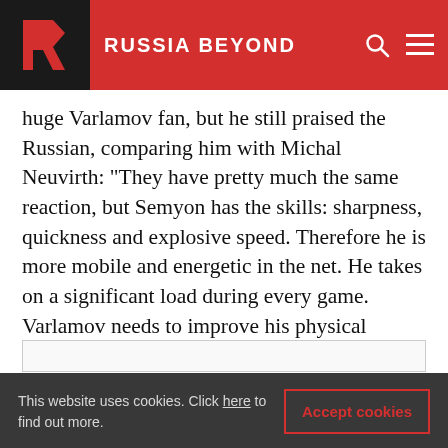RUSSIA BEYOND
huge Varlamov fan, but he still praised the Russian, comparing him with Michal Neuvirth: “They have pretty much the same reaction, but Semyon has the skills: sharpness, quickness and explosive speed. Therefore he is more mobile and energetic in the net. He takes on a significant load during every game. Varlamov needs to improve his physical conditioning so that his body doesn’t give out.”
This website uses cookies. Click here to find out more.
Accept cookies